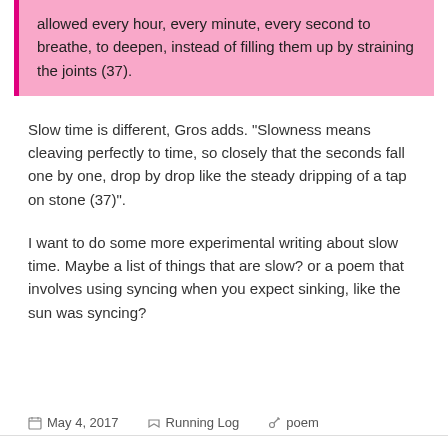allowed every hour, every minute, every second to breathe, to deepen, instead of filling them up by straining the joints (37).
Slow time is different, Gros adds. "Slowness means cleaving perfectly to time, so closely that the seconds fall one by one, drop by drop like the steady dripping of a tap on stone (37)".
I want to do some more experimental writing about slow time. Maybe a list of things that are slow? or a poem that involves using syncing when you expect sinking, like the sun was syncing?
May 4, 2017   Running Log   poem